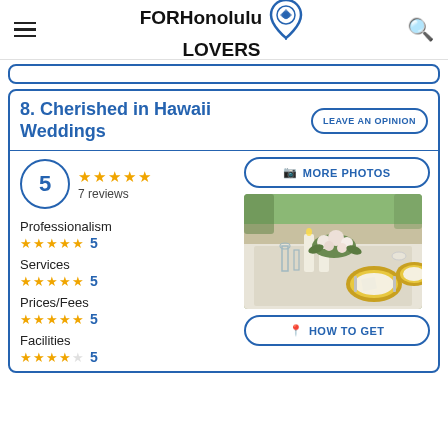FORHonolulu LOVERS
8. Cherished in Hawaii Weddings
LEAVE AN OPINION
5 — 7 reviews
Professionalism 5
Services 5
Prices/Fees 5
Facilities 5
[Figure (photo): Wedding table setting with candles, floral centerpiece, gold charger plates, white linens and glassware]
MORE PHOTOS
HOW TO GET